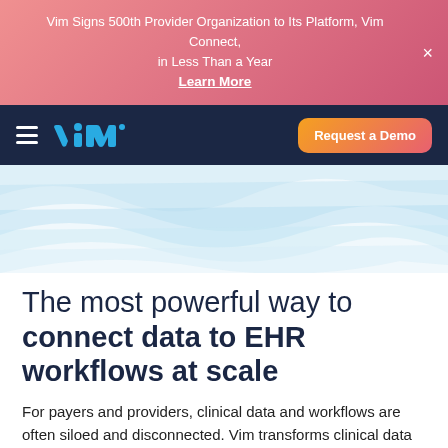Vim Signs 500th Provider Organization to Its Platform, Vim Connect, in Less Than a Year
Learn More
[Figure (logo): Vim logo in blue on dark navy navbar with hamburger menu and Request a Demo button]
[Figure (illustration): Abstract light blue wave/ribbon graphic on white background]
The most powerful way to connect data to EHR workflows at scale
For payers and providers, clinical data and workflows are often siloed and disconnected. Vim transforms clinical data into actionable in-EHR insights at the point of care. Vim's